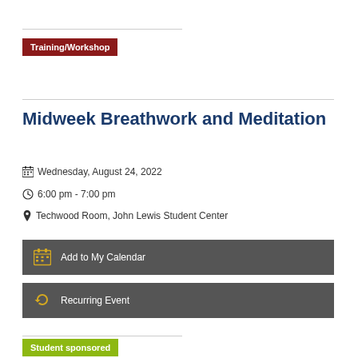Training/Workshop
Midweek Breathwork and Meditation
Wednesday, August 24, 2022
6:00 pm - 7:00 pm
Techwood Room, John Lewis Student Center
Add to My Calendar
Recurring Event
Student sponsored